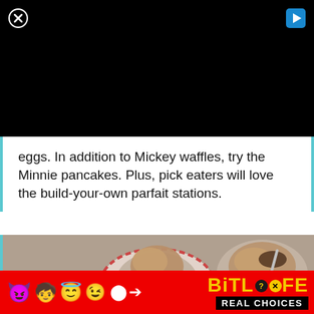[Figure (other): Black video player area with close (X) button top-left and play button top-right on dark background]
eggs. In addition to Mickey waffles, try the Minnie pancakes. Plus, pick eaters will love the build-your-own parfait stations.
[Figure (photo): Overhead view of dessert bowls with ice cream scoops, toppings, spoons, and a build-your-own parfait/sundae station spread]
[Figure (other): BitLife advertisement banner with emoji characters (devil, girl, angel, winking face), BitLife logo in yellow with question mark and X badge, and REAL CHOICES text on black background, on red background]